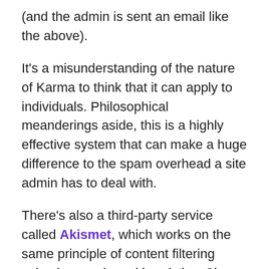(and the admin is sent an email like the above).
It's a misunderstanding of the nature of Karma to think that it can apply to individuals. Philosophical meanderings aside, this is a highly effective system that can make a huge difference to the spam overhead a site admin has to deal with.
There's also a third-party service called Akismet, which works on the same principle of content filtering using keywords and heuristics. Since the system is managed centrally it has a much larger base of data to work from, which should make its assessments far more reliable — with a lower